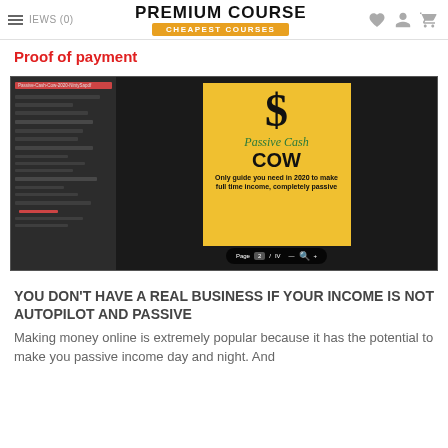PREMIUM COURSE — CHEAPEST COURSES
Proof of payment
[Figure (screenshot): Screenshot of a PDF viewer showing the cover of 'Passive Cash Cow' guide with a dollar sign graphic and subtitle 'Only guide you need in 2020 to make full time income, completely passive' on a yellow background, alongside a dark file panel on the left.]
YOU DON'T HAVE A REAL BUSINESS IF YOUR INCOME IS NOT AUTOPILOT AND PASSIVE
Making money online is extremely popular because it has the potential to make you passive income day and night. And